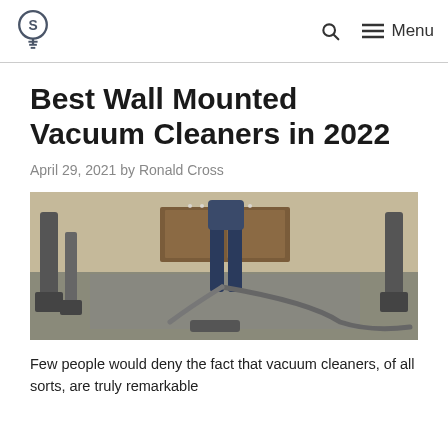S [logo] | Search | Menu
Best Wall Mounted Vacuum Cleaners in 2022
April 29, 2021 by Ronald Cross
[Figure (photo): A person using a central vacuum system with a hose and floor tool in a room showing multiple wall-mounted vacuum inlets and equipment.]
Few people would deny the fact that vacuum cleaners, of all sorts, are truly remarkable